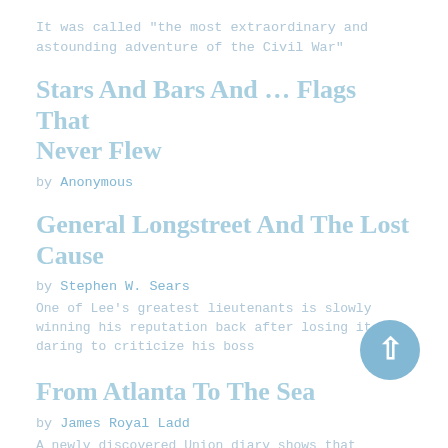It was called "the most extraordinary and astounding adventure of the Civil War"
Stars And Bars And … Flags That Never Flew
by Anonymous
General Longstreet And The Lost Cause
by Stephen W. Sears
One of Lee's greatest lieutenants is slowly winning his reputation back after losing it for daring to criticize his boss
From Atlanta To The Sea
by James Royal Ladd
A newly discovered Union diary shows that Sherman's march was about as Ruthless as Southerners have always